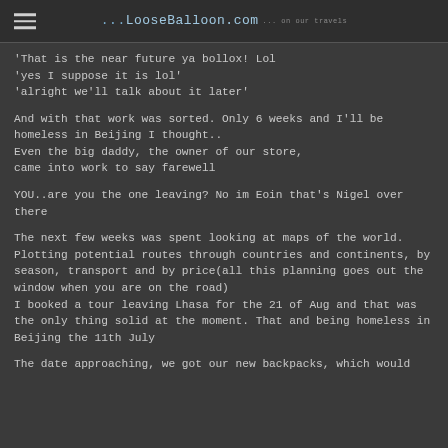...LooseBalloon.com [tagline]
'That is the near future ya bollox! Lol
'yes I suppose it is lol'
'alright we'll talk about it later'
And with that work was sorted. Only 6 weeks and I'll be homeless in Beijing I thought..
Even the big daddy, the owner of our store, came into work to say farewell
YOU..are you the one leaving? No im Eoin that's Nigel over there
The next few weeks was spent looking at maps of the world. Plotting potential routes through countries and continents, by season, transport and by price(all this planning goes out the window when you are on the road)
I booked a tour leaving Lhasa for the 21 of Aug and that was the only thing solid at the moment. That and being homeless in Beijing the 11th July
The date approaching, we got our new backpacks, which would